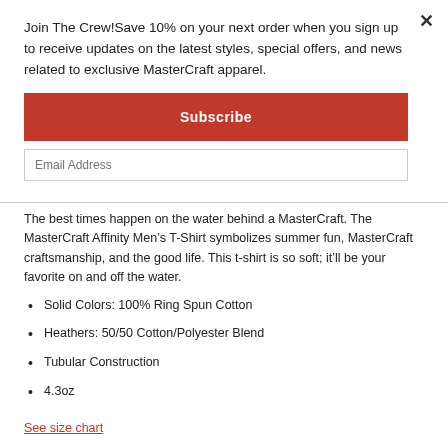Join The Crew!Save 10% on your next order when you sign up to receive updates on the latest styles, special offers, and news related to exclusive MasterCraft apparel.
Subscribe
The best times happen on the water behind a MasterCraft. The MasterCraft Affinity Men's T-Shirt symbolizes summer fun, MasterCraft craftsmanship, and the good life. This t-shirt is so soft; it'll be your favorite on and off the water.
Solid Colors: 100% Ring Spun Cotton
Heathers: 50/50 Cotton/Polyester Blend
Tubular Construction
4.3oz
See size chart